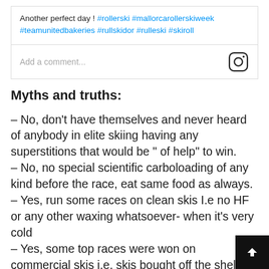Another perfect day ! #rollerski #mallorcarollerskiweek #teamunitedbakeries #rullskidor #rulleski #skiroll
Add a comment...
Myths and truths:
– No, don't have themselves and never heard of anybody in elite skiing having any superstitions that would be " of help" to win.
– No, no special scientific carboloading of any kind before the race, eat same food as always.
– Yes, run some races on clean skis I.e no HF or any other waxing whatsoever- when it's very cold
– Yes, some top races were won on commercial skis i.e. skis bought off the shelf